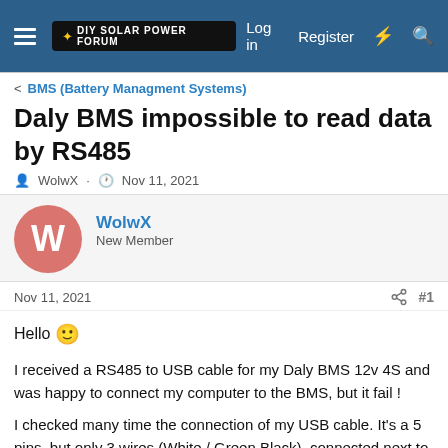DIY Solar Power Forum — Log in   Register
< BMS (Battery Managment Systems)
Daly BMS impossible to read data by RS485
WolwX · Nov 11, 2021
WolwX
New Member
Nov 11, 2021   #1
Hello 🙂

I received a RS485 to USB cable for my Daly BMS 12v 4S and was happy to connect my computer to the BMS, but it fail !

I checked many time the connection of my USB cable. It's a 5 pins, but only 3 wires (White / Green Black), connected next to the UART port used for the Bluetooth module. This port is without any label or indication.